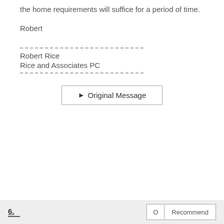the home requirements will suffice for a period of time.
Robert
Robert Rice
Rice and Associates PC
[Figure (other): Original Message button with arrow]
6. 0 Recommend